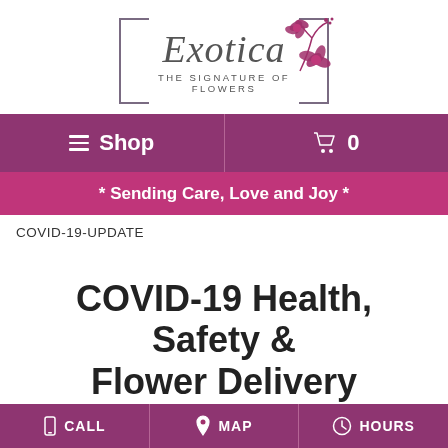[Figure (logo): Exotica - The Signature of Flowers logo with floral graphic and decorative frame]
☰ Shop | 🛒 0
* Sending Care, Love and Joy *
COVID-19-UPDATE
COVID-19 Health, Safety & Flower Delivery Update
📱 CALL | 📍 MAP | 🕐 HOURS